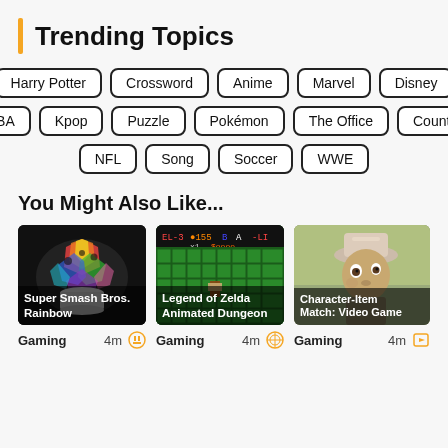Trending Topics
Harry Potter
Crossword
Anime
Marvel
Disney
NBA
Kpop
Puzzle
Pokémon
The Office
Country
NFL
Song
Soccer
WWE
You Might Also Like...
[Figure (illustration): Super Smash Bros. Rainbow - colorful mushroom on black background - Gaming, 4m]
[Figure (screenshot): Legend of Zelda Animated Dungeon - green pixel art game screenshot - Gaming, 4m]
[Figure (illustration): Character-Item Match: Video Games - animated character illustration - Gaming, 4m]